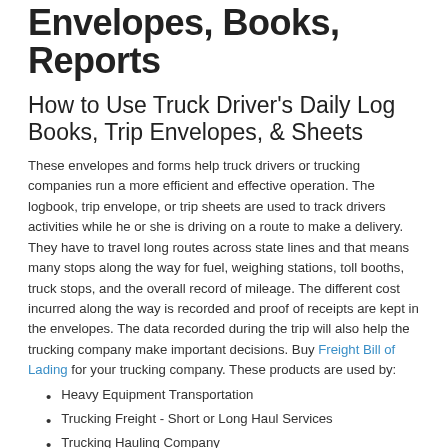Envelopes, Books, Reports
How to Use Truck Driver's Daily Log Books, Trip Envelopes, & Sheets
These envelopes and forms help truck drivers or trucking companies run a more efficient and effective operation. The logbook, trip envelope, or trip sheets are used to track drivers activities while he or she is driving on a route to make a delivery. They have to travel long routes across state lines and that means many stops along the way for fuel, weighing stations, toll booths, truck stops, and the overall record of mileage. The different cost incurred along the way is recorded and proof of receipts are kept in the envelopes. The data recorded during the trip will also help the trucking company make important decisions. Buy Freight Bill of Lading for your trucking company. These products are used by:
Heavy Equipment Transportation
Trucking Freight - Short or Long Haul Services
Trucking Hauling Company
Trucking Brokerages
Trucking Transporation Services & Logistics